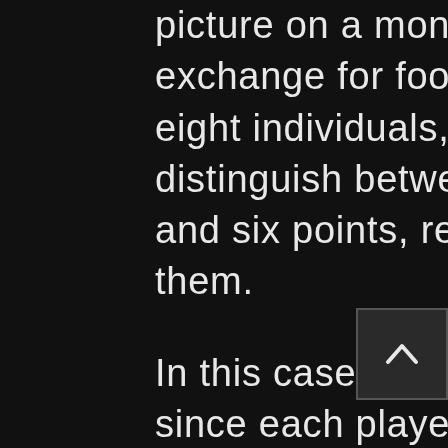picture on a monitor above an aquarium in exchange for food. Then they picked out eight individuals, trained them to distinguish between two pictures with three and six points, respectively, then tested them.
In this case, you have a 100% reward rate since each player shoots the target from six points. Four more individuals received a prize if they shot the stimulus from three points, and four more – if they took aim at it from six. The training and later research stimuli were picked to ensure that their radius, area, and perimeter matched. The authors made certain that the